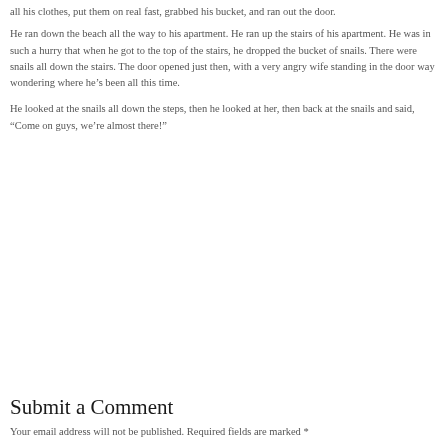all his clothes, put them on real fast, grabbed his bucket, and ran out the door.
He ran down the beach all the way to his apartment. He ran up the stairs of his apartment. He was in such a hurry that when he got to the top of the stairs, he dropped the bucket of snails. There were snails all down the stairs. The door opened just then, with a very angry wife standing in the
door way wondering where he’s been all this time.

He looked at the snails all down the steps, then he looked at her, then back at the snails and said, “Come on guys, we’re almost there!”
Submit a Comment
Your email address will not be published. Required fields are marked *